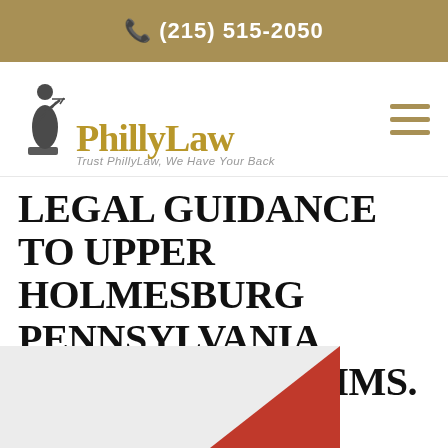(215) 515-2050
[Figure (logo): PhillyLaw logo with Lady Justice statue and text 'PhillyLaw — Trust PhillyLaw, We Have Your Back']
LEGAL GUIDANCE TO UPPER HOLMESBURG PENNSYLVANIA ACCIDENT VICTIMS.
[Figure (photo): Partial image at bottom of page, appears to show a legal or accident-related scene with red element in lower right corner]